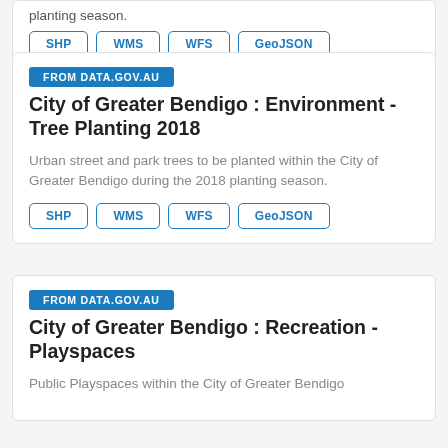planting season.
SHP
WMS
WFS
GeoJSON
City of Greater Bendigo : Environment - Tree Planting 2018
Urban street and park trees to be planted within the City of Greater Bendigo during the 2018 planting season.
SHP
WMS
WFS
GeoJSON
City of Greater Bendigo : Recreation - Playspaces
Public Playspaces within the City of Greater Bendigo